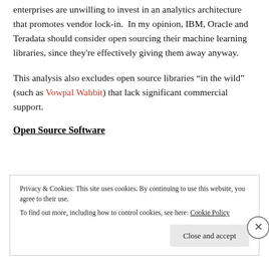enterprises are unwilling to invest in an analytics architecture that promotes vendor lock-in. In my opinion, IBM, Oracle and Teradata should consider open sourcing their machine learning libraries, since they're effectively giving them away anyway.
This analysis also excludes open source libraries “in the wild” (such as Vowpal Wabbit) that lack significant commercial support.
Open Source Software
Privacy & Cookies: This site uses cookies. By continuing to use this website, you agree to their use.
To find out more, including how to control cookies, see here: Cookie Policy